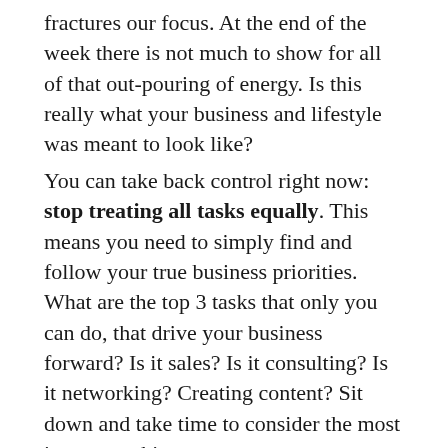fractures our focus. At the end of the week there is not much to show for all of that out-pouring of energy. Is this really what your business and lifestyle was meant to look like?
You can take back control right now: stop treating all tasks equally. This means you need to simply find and follow your true business priorities. What are the top 3 tasks that only you can do, that drive your business forward? Is it sales? Is it consulting? Is it networking? Creating content? Sit down and take time to consider the most important things you